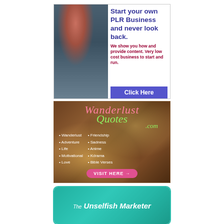[Figure (infographic): Advertisement: Start your own PLR Business and never look back. We show you how and provide content. Very low cost business to start and run. Click Here button. Features image of woman looking out to sea.]
[Figure (infographic): Advertisement: WanderlustQuotes.com. Lists: Wanderlust, Adventure, Life, Motivational, Love, Friendship, Sadness, Anime, Kdrama, Bible Verses. Visit Here button. Decorative wood background with bokeh lights.]
[Figure (infographic): Advertisement: The Unselfish Marketer. Teal/turquoise background with rounded border, partially visible.]